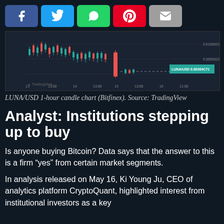[Figure (screenshot): Social media share buttons row: Facebook (blue), Twitter (light blue), WhatsApp (green), Pinterest (red), Email (gray)]
[Figure (continuous-plot): LUNA/USD 1-hour candle chart from Bitfinex on TradingView showing a sharp price drop with a large red candle, price levels around 0.01008220 and 0.00500220]
LUNA/USD 1-hour candle chart (Bitfinex). Source: TradingView
Analyst: Institutions stepping up to buy
Is anyone buying Bitcoin? Data says that the answer to this is a firm “yes” from certain market segments.
In analysis released on May 16, Ki Young Ju, CEO of analytics platform CryptoQuant, highlighted interest from institutional investors as a key